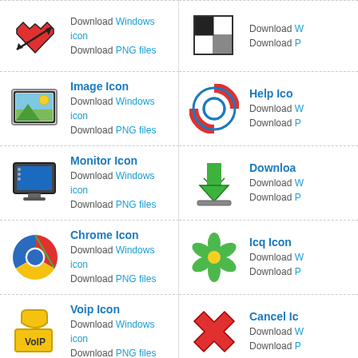Download Windows icon
Download PNG files
Download Windows icon
Download PNG files
Image Icon
Download Windows icon
Download PNG files
Help Icon
Download Windows icon
Download PNG files
Monitor Icon
Download Windows icon
Download PNG files
Download
Download Windows icon
Download PNG files
Chrome Icon
Download Windows icon
Download PNG files
Icq Icon
Download Windows icon
Download PNG files
Voip Icon
Download Windows icon
Download PNG files
Cancel Icon
Download Windows icon
Download PNG files
Windows Icon
Download Windows icon
Download PNG files
Box Icon
Download Windows icon
Download PNG files
Skype Icon
Download Windows icon
Firefox Icon
Download Windows icon